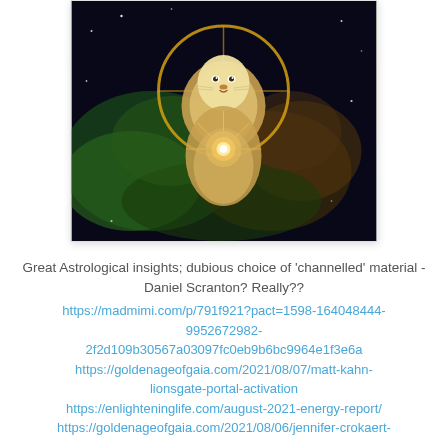[Figure (illustration): A mystical illustration of a white lion figure in a meditative pose, holding a glowing golden orb, set against a cosmic nebula background with green, orange, and brown gas clouds and stars. A golden ring/halo encircles the lion from above.]
Great Astrological insights; dubious choice of 'channelled' material - Daniel Scranton? Really??
https://madmimi.com/p/791f921?pact=1598-164048444-9952672982-2f2d109b30567a03097fc0eb9b6bc9964e1f3e6a
https://goldenageofgaia.com/2021/08/07/matt-kahn-lionsgate-portal-activation
https://enlighteninglife.com/august-2021-energy-report/
https://goldenageofgaia.com/2021/08/06/jennifer-crokaert-